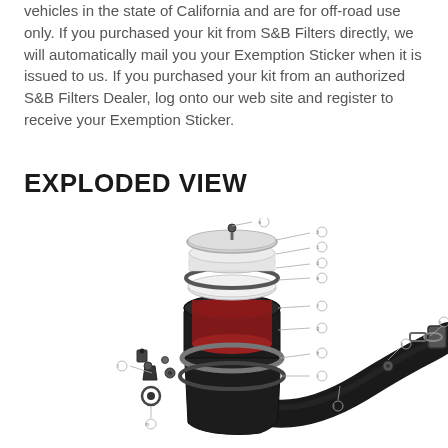vehicles in the state of California and are for off-road use only. If you purchased your kit from S&B Filters directly, we will automatically mail you your Exemption Sticker when it is issued to us. If you purchased your kit from an authorized S&B Filters Dealer, log onto our web site and register to receive your Exemption Sticker.
EXPLODED VIEW
[Figure (engineering-diagram): Exploded view diagram of an S&B Filters cold air intake system showing all components with labeled callout lines: filter assembly (red oiled filter, top cap, clamps), air intake tube (large black curved tube), couplers, heat shield/housing, and various hardware pieces including bolts and brackets. Components are spread apart to show assembly order.]